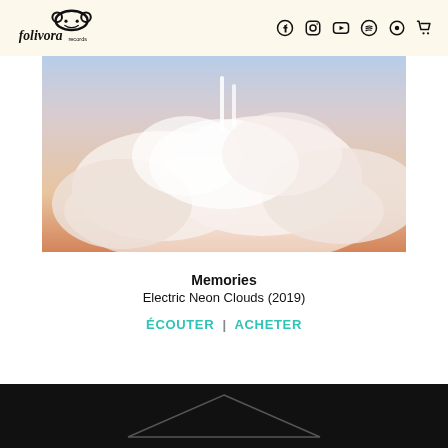Folivora Records — navigation header with logo and social icons
[Figure (photo): Album art photograph showing dramatic cloud scene with warm orange/peach tones at bottom and soft blue sky at top, with faint neon light lines visible, for the track Memories by Electric Neon Clouds (2019)]
Memories
Electric Neon Clouds (2019)
ÉCOUTER | ACHETER
[Figure (illustration): Bottom dark section with a geometric triangle outline shape in dark/charcoal colors]